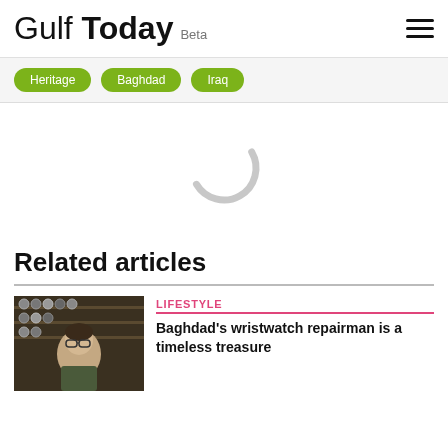Gulf Today Beta
Heritage
Baghdad
Iraq
[Figure (other): Loading spinner — a grey arc/circle indicating content is loading]
Related articles
[Figure (photo): Thumbnail photo of a man with glasses in a watch repair shop]
LIFESTYLE
Baghdad's wristwatch repairman is a timeless treasure